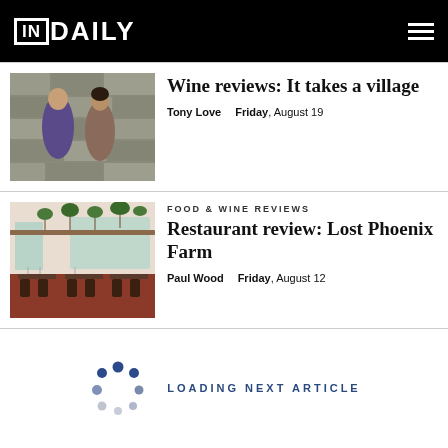IN DAILY
[Figure (photo): Two people standing against a stone wall, one in a purple jacket]
Wine reviews: It takes a village
Tony Love   Friday, August 19
[Figure (photo): Interior of a restaurant with hanging plants and wooden tables with chairs]
FOOD & WINE REVIEWS
Restaurant review: Lost Phoenix Farm
Paul Wood   Friday, August 12
LOADING NEXT ARTICLE